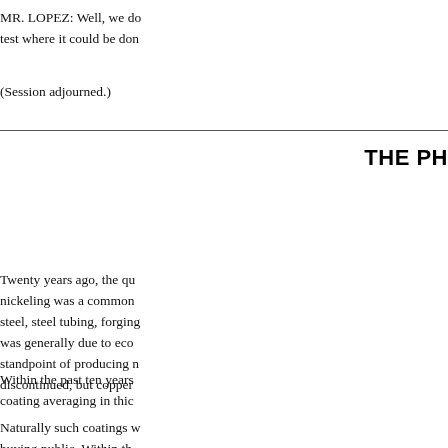MR. LOPEZ: Well, we do a test where it could be don
(Session adjourned.)
THE PH
Twenty years ago, the qu nickeling was a common steel, steel tubing, forging was generally due to eco standpoint of producing n discontinued, but copper
Within the past ten years coating averaging in thic
Naturally such coatings w buying public. Within th